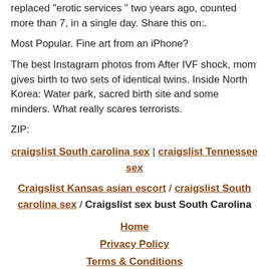replaced "erotic services " two years ago, counted more than 7, in a single day. Share this on:.
Most Popular. Fine art from an iPhone?
The best Instagram photos from After IVF shock, mom gives birth to two sets of identical twins. Inside North Korea: Water park, sacred birth site and some minders. What really scares terrorists.
ZIP:
craigslist South carolina sex | craigslist Tennessee sex
Craigslist Kansas asian escort / craigslist South carolina sex / Craigslist sex bust South Carolina
Home
Privacy Policy
Terms & Conditions